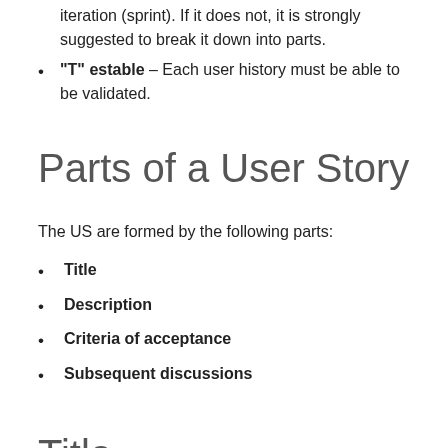iteration (sprint). If it does not, it is strongly suggested to break it down into parts.
"T" estable – Each user history must be able to be validated.
Parts of a User Story
The US are formed by the following parts:
Title
Description
Criteria of acceptance
Subsequent discussions
Title